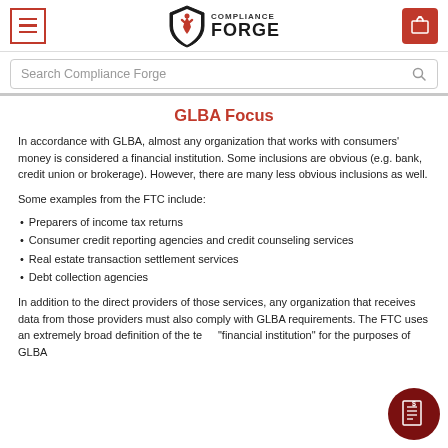Compliance Forge navigation header with menu, logo, and cart
Search Compliance Forge
GLBA Focus
In accordance with GLBA, almost any organization that works with consumers' money is considered a financial institution. Some inclusions are obvious (e.g. bank, credit union or brokerage). However, there are many less obvious inclusions as well.
Some examples from the FTC include:
Preparers of income tax returns
Consumer credit reporting agencies and credit counseling services
Real estate transaction settlement services
Debt collection agencies
In addition to the direct providers of those services, any organization that receives data from those providers must also comply with GLBA requirements. The FTC uses an extremely broad definition of the term "financial institution" for the purposes of GLBA